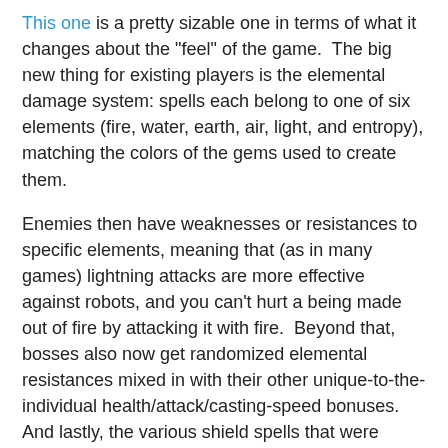This one is a pretty sizable one in terms of what it changes about the "feel" of the game.  The big new thing for existing players is the elemental damage system: spells each belong to one of six elements (fire, water, earth, air, light, and entropy), matching the colors of the gems used to create them.
Enemies then have weaknesses or resistances to specific elements, meaning that (as in many games) lightning attacks are more effective against robots, and you can't hurt a being made out of fire by attacking it with fire.  Beyond that, bosses also now get randomized elemental resistances mixed in with their other unique-to-the-individual health/attack/casting-speed bonuses.  And lastly, the various shield spells that were introduced a month or so ago now have proper elemental resistance bonuses tied to each of them.
There actually was a sort of elemental "combo system" that we'd implemented, too, but as the very savvy Jerebaldo1 pointed out from the release notes before the release even